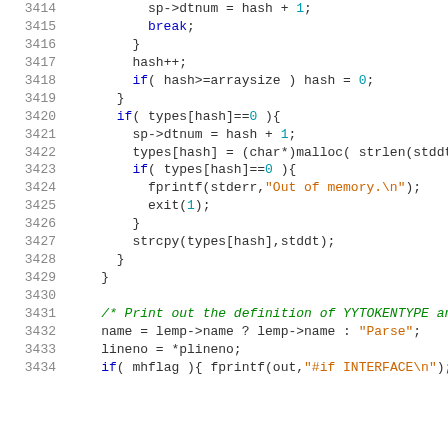[Figure (screenshot): Source code listing lines 3414-3434 in C, showing hash table logic and a comment about printing YYTOKENTYPE definition. Line numbers are in gray on the left, code uses syntax highlighting with blue keywords, orange strings, green comments, and dark teal numbers/identifiers.]